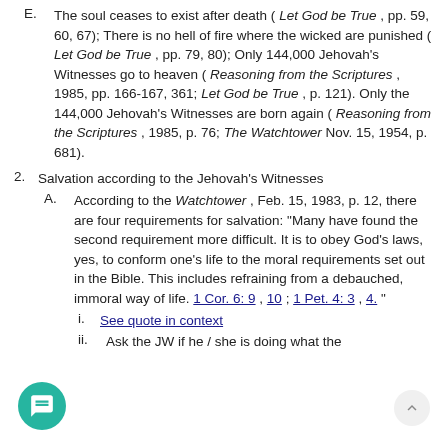E. The soul ceases to exist after death ( Let God be True , pp. 59, 60, 67); There is no hell of fire where the wicked are punished ( Let God be True , pp. 79, 80); Only 144,000 Jehovah's Witnesses go to heaven ( Reasoning from the Scriptures , 1985, pp. 166-167, 361; Let God be True , p. 121). Only the 144,000 Jehovah's Witnesses are born again ( Reasoning from the Scriptures , 1985, p. 76; The Watchtower Nov. 15, 1954, p. 681).
2. Salvation according to the Jehovah's Witnesses
A. According to the Watchtower , Feb. 15, 1983, p. 12, there are four requirements for salvation: "Many have found the second requirement more difficult. It is to obey God's laws, yes, to conform one's life to the moral requirements set out in the Bible. This includes refraining from a debauched, immoral way of life. 1 Cor. 6: 9 , 10 ; 1 Pet. 4: 3 , 4. "
i. See quote in context
ii. Ask the JW if he / she is doing what the